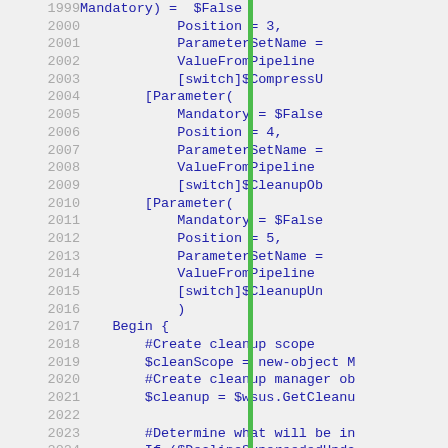[Figure (screenshot): Code editor screenshot showing PowerShell script with line numbers 1999-2024 and a green vertical bar. Code includes parameter definitions with Mandatory, Position, ParameterSetName, ValueFromPipeline attributes and switch parameters like $CompressU, $CleanupOb, $CleanupUn, followed by Begin block with cleanup scope and manager object creation.]